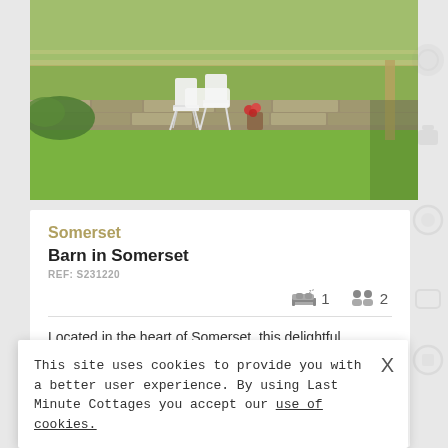[Figure (photo): Outdoor garden photo showing white folding chairs and table on a green lawn, with a stone wall and wooden fence in the background, and a pot of red flowers.]
Somerset
Barn in Somerset
REF: S231220
1  2
Located in the heart of Somerset, this delightful property is an ideal base for exploring the area. England's smallest city, Wells, is close by with its magnificent cathedral and popular market days (Wednesdays and Saturdays). You can enjoy...
This site uses cookies to provide you with a better user experience. By using Last Minute Cottages you accept our use of cookies.